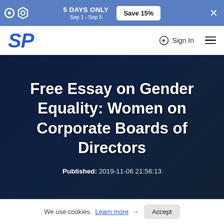5 DAYS ONLY Sep 1 - Sep 5  Save 15%
SP  Sign In
Free Essay on Gender Equality: Women on Corporate Boards of Directors
Published: 2019-11-06 21:56:13
We use cookies. Learn more → Accept